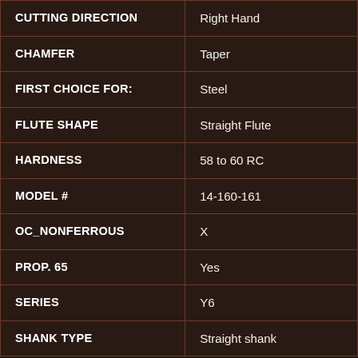| Property | Value |
| --- | --- |
| CUTTING DIRECTION | Right Hand |
| CHAMFER | Taper |
| FIRST CHOICE FOR: | Steel |
| FLUTE SHAPE | Straight Flute |
| HARDNESS | 58 to 60 RC |
| MODEL # | 14-160-161 |
| OC_NONFERROUS | X |
| PROP. 65 | Yes |
| SERIES | Y6 |
| SHANK TYPE | Straight shank |